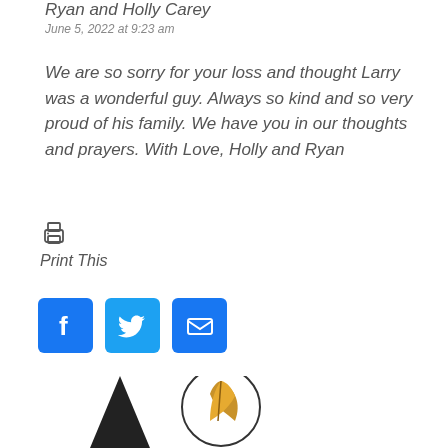Ryan and Holly Carey
June 5, 2022 at 9:23 am
We are so sorry for your loss and thought Larry was a wonderful guy. Always so kind and so very proud of his family. We have you in our thoughts and prayers. With Love, Holly and Ryan
[Figure (other): Print This icon with printer symbol and italic label]
[Figure (other): Social share buttons: Facebook (blue square with F), Twitter (blue square with bird icon), Email (blue square with envelope icon)]
[Figure (logo): Partial logo at bottom: dark triangle shape on left, circular emblem with leaf on right]